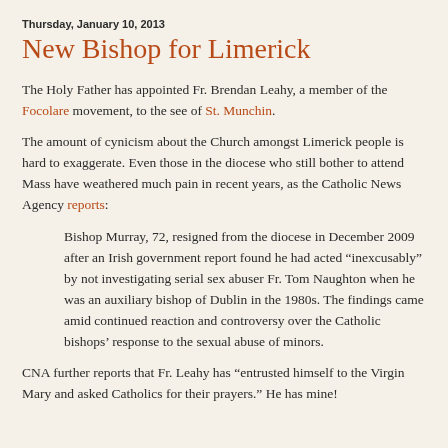Thursday, January 10, 2013
New Bishop for Limerick
The Holy Father has appointed Fr. Brendan Leahy, a member of the Focolare movement, to the see of St. Munchin.
The amount of cynicism about the Church amongst Limerick people is hard to exaggerate. Even those in the diocese who still bother to attend Mass have weathered much pain in recent years, as the Catholic News Agency reports:
Bishop Murray, 72, resigned from the diocese in December 2009 after an Irish government report found he had acted “inexcusably” by not investigating serial sex abuser Fr. Tom Naughton when he was an auxiliary bishop of Dublin in the 1980s. The findings came amid continued reaction and controversy over the Catholic bishops’ response to the sexual abuse of minors.
CNA further reports that Fr. Leahy has “entrusted himself to the Virgin Mary and asked Catholics for their prayers.” He has mine!